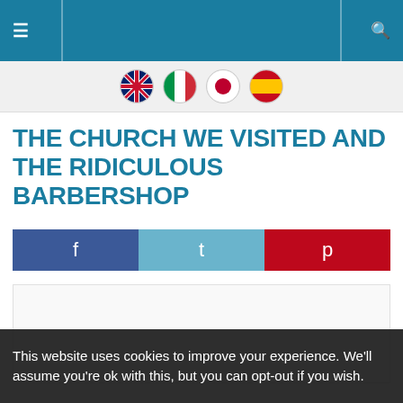Navigation menu header bar with menu icon and search icon
[Figure (illustration): Language selector with four flag icons: UK, Italy, Japan, Spain]
THE CHURCH WE VISITED AND THE RIDICULOUS BARBERSHOP
[Figure (infographic): Social share buttons: Facebook (blue), Twitter (light blue), Pinterest (red)]
[Figure (photo): Article image placeholder (white/light grey box)]
This website uses cookies to improve your experience. We'll assume you're ok with this, but you can opt-out if you wish.